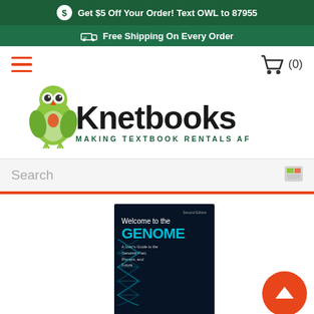Get $5 Off Your Order! Text OWL to 87955
Free Shipping On Every Order
[Figure (logo): Knetbooks logo with green owl and text 'Knetbooks - Making Textbook Rentals Affordable']
Search
[Figure (photo): Book cover: Welcome to the GENOME - A User's Guide to the Genetic Past, Present, and Future by Rob DeSalle]